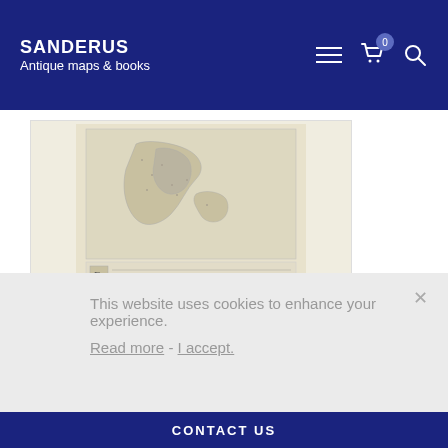SANDERUS Antique maps & books
[Figure (illustration): Antique map engraving of the British Isles (Inghilterra) with text below in old style. Black and white with beige paper tone.]
Inghilterra - [Above map :] ...
British Isles, by Thomaso ...
[Item number: 28911]
new
€380
This website uses cookies to enhance your experience.
Read more - I accept.
CONTACT US